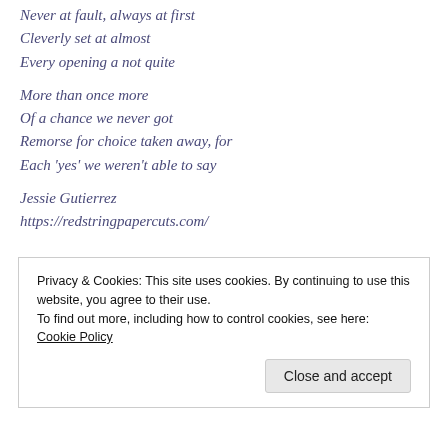Never at fault, always at first
Cleverly set at almost
Every opening a not quite
More than once more
Of a chance we never got
Remorse for choice taken away, for
Each 'yes' we weren't able to say
Jessie Gutierrez
https://redstringpapercuts.com/
Privacy & Cookies: This site uses cookies. By continuing to use this website, you agree to their use.
To find out more, including how to control cookies, see here: Cookie Policy
Close and accept